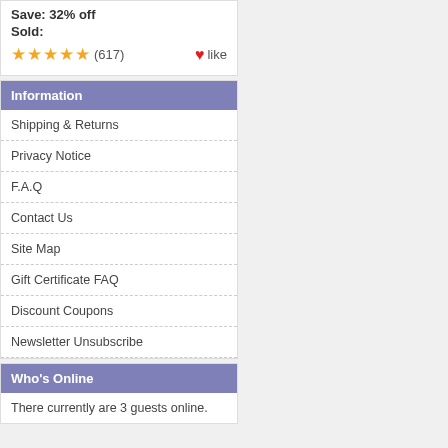Save: 32% off
Sold:
★★★★★ (617)  ❤like
Information
Shipping & Returns
Privacy Notice
F.A.Q
Contact Us
Site Map
Gift Certificate FAQ
Discount Coupons
Newsletter Unsubscribe
Who's Online
There currently are 3 guests online.